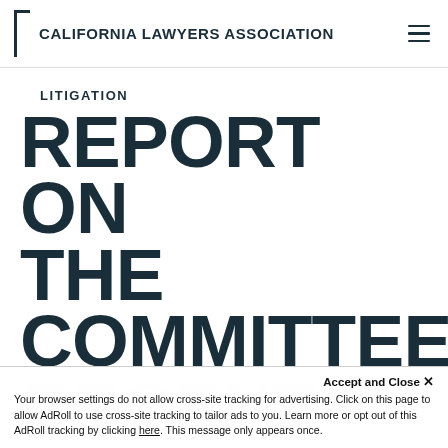CALIFORNIA LAWYERS ASSOCIATION
LITIGATION
REPORT ON THE COMMITTEE'S RECENT
Accept and Close ×
Your browser settings do not allow cross-site tracking for advertising. Click on this page to allow AdRoll to use cross-site tracking to tailor ads to you. Learn more or opt out of this AdRoll tracking by clicking here. This message only appears once.